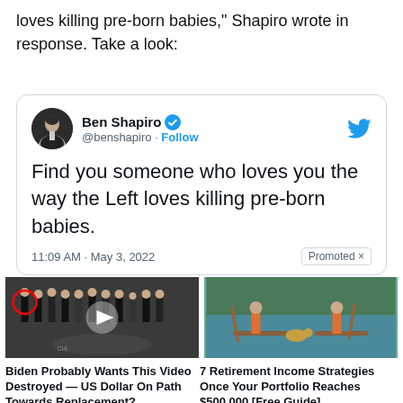loves killing pre-born babies," Shapiro wrote in response. Take a look:
[Figure (screenshot): Embedded tweet from Ben Shapiro (@benshapiro) with Twitter verified badge and Follow button. Tweet text: 'Find you someone who loves you the way the Left loves killing pre-born babies.' Posted at 11:09 AM · May 3, 2022. Promoted badge visible.]
[Figure (photo): Left ad: group of men in suits at CIA headquarters with a red circle highlighting one figure and a video play button overlay. Right ad: illustration of two people paddleboarding with a dog.]
Biden Probably Wants This Video Destroyed — US Dollar On Path Towards Replacement?
▲ 590,698
7 Retirement Income Strategies Once Your Portfolio Reaches $500,000 [Free Guide]
▲ 654